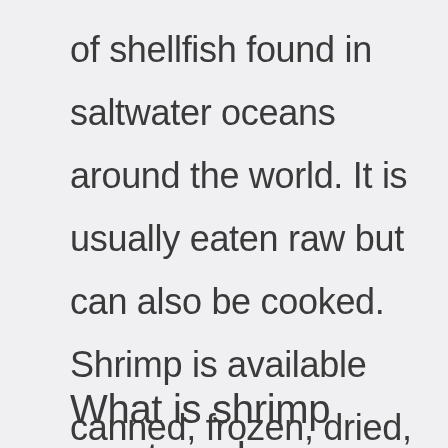of shellfish found in saltwater oceans around the world. It is usually eaten raw but can also be cooked. Shrimp is available canned, frozen, dried, smoked, salted, pickled, and even fermented.
What is shrimp meat made